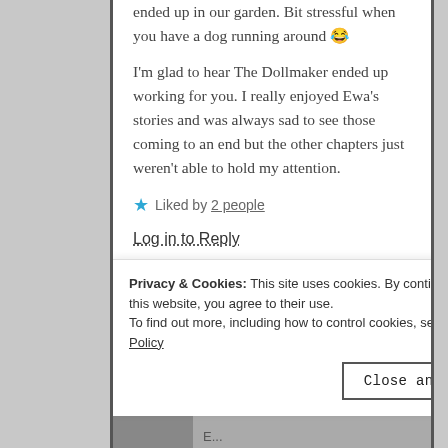ended up in our garden. Bit stressful when you have a dog running around 😂
I'm glad to hear The Dollmaker ended up working for you. I really enjoyed Ewa's stories and was always sad to see those coming to an end but the other chapters just weren't able to hold my attention.
★ Liked by 2 people
Log in to Reply
Privacy & Cookies: This site uses cookies. By continuing to use this website, you agree to their use.
To find out more, including how to control cookies, see here: Cookie Policy
Close and accept